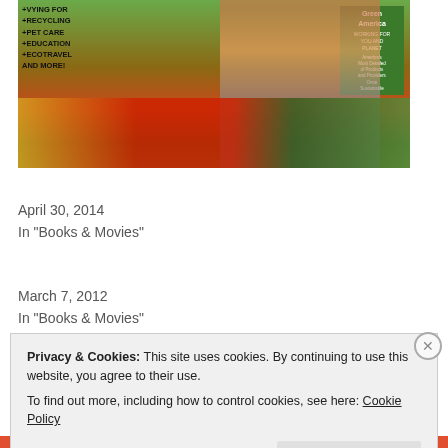[Figure (photo): Magazine cover photo showing people gardening with colorful flowers (yellow and red gerberas), a watering can, and a green badge/logo in the upper right corner]
Green America
April 30, 2014
In "Books & Movies"
The Lorax
March 7, 2012
In "Books & Movies"
Privacy & Cookies: This site uses cookies. By continuing to use this website, you agree to their use.
To find out more, including how to control cookies, see here: Cookie Policy
Close and accept